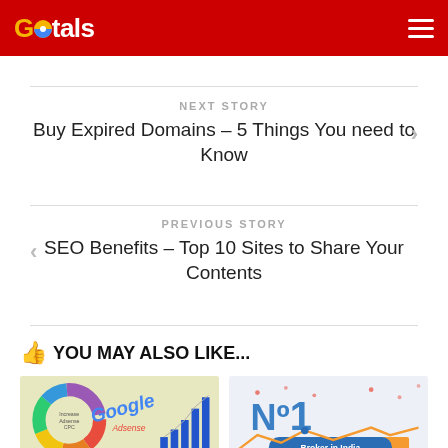Getals
NEXT STORY
Buy Expired Domains – 5 Things You need to Know
PREVIOUS STORY
SEO Benefits – Top 10 Sites to Share Your Contents
👍 YOU MAY ALSO LIKE...
[Figure (illustration): Thumbnail image showing Increase Adsense CPC with Google Adsense donut chart and bar chart]
[Figure (illustration): Thumbnail image showing No1 Broker in India with decorative graphic]